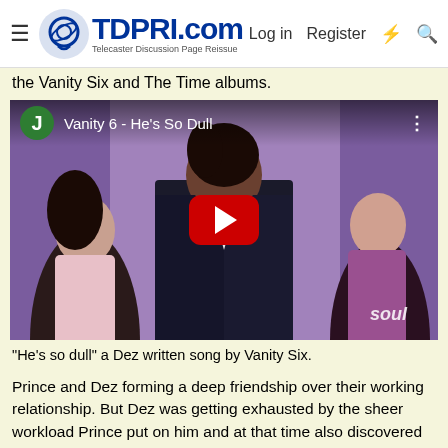TDPRI.com — Telecaster Discussion Page Reissue | Log in | Register
the Vanity Six and The Time albums.
[Figure (screenshot): YouTube video thumbnail for 'Vanity 6 - He's So Dull' showing three women performing on stage with a purple background. A green avatar with letter J is shown in the top-left overlay bar. A red YouTube play button is centered on the image.]
"He's so dull" a Dez written song by Vanity Six.
Prince and Dez forming a deep friendship over their working relationship. But Dez was getting exhausted by the sheer workload Prince put on him and at that time also discovered Christianity and wanted to take his life into another direction.